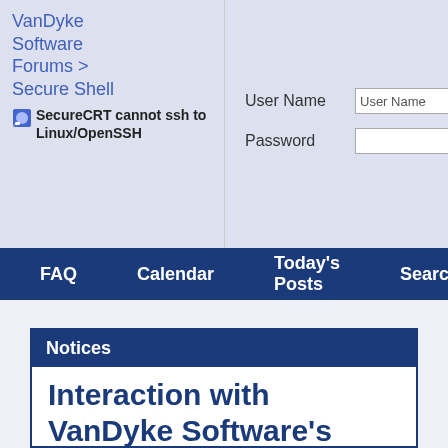VanDyke Software Forums > Secure Shell
SecureCRT cannot ssh to Linux/OpenSSH
User Name  [User Name]  [ ] Remember Me  Password  [        ] [Log in]
FAQ  Calendar  Today's Posts  Search
Notices
Interaction with VanDyke Software's online forums has been discontinued.
The online forums will remain active as a read-only